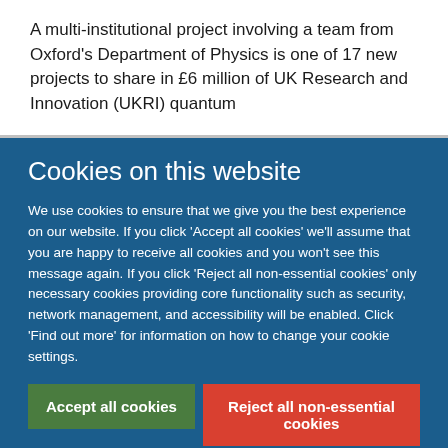A multi-institutional project involving a team from Oxford's Department of Physics is one of 17 new projects to share in £6 million of UK Research and Innovation (UKRI) quantum
Cookies on this website
We use cookies to ensure that we give you the best experience on our website. If you click 'Accept all cookies' we'll assume that you are happy to receive all cookies and you won't see this message again. If you click 'Reject all non-essential cookies' only necessary cookies providing core functionality such as security, network management, and accessibility will be enabled. Click 'Find out more' for information on how to change your cookie settings.
Accept all cookies
Reject all non-essential cookies
Find out more